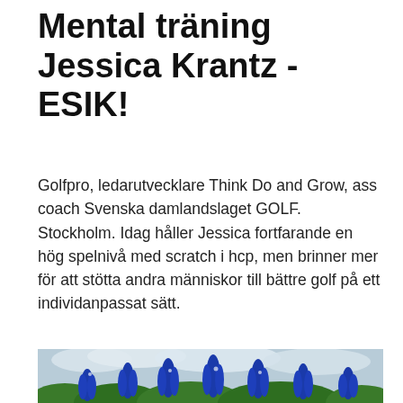Mental träning Jessica Krantz - ESIK!
Golfpro, ledarutvecklare Think Do and Grow, ass coach Svenska damlandslaget GOLF. Stockholm. Idag håller Jessica fortfarande en hög spelnivå med scratch i hcp, men brinner mer för att stötta andra människor till bättre golf på ett individanpassat sätt.
[Figure (photo): Photograph of blue lupine flowers in bloom against a cloudy sky background]